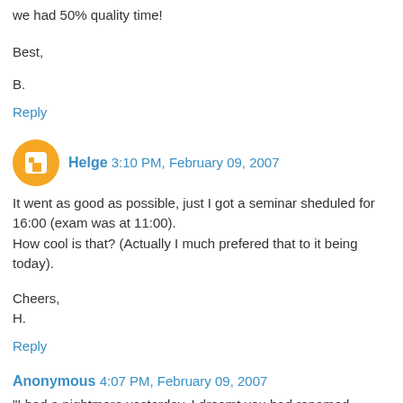we had 50% quality time!
Best,
B.
Reply
Helge  3:10 PM, February 09, 2007
It went as good as possible, just I got a seminar sheduled for 16:00 (exam was at 11:00). How cool is that? (Actually I much prefered that to it being today).
Cheers,
H.
Reply
Anonymous  4:07 PM, February 09, 2007
"I had a nightmare yesterday, I dreamt you had renamed